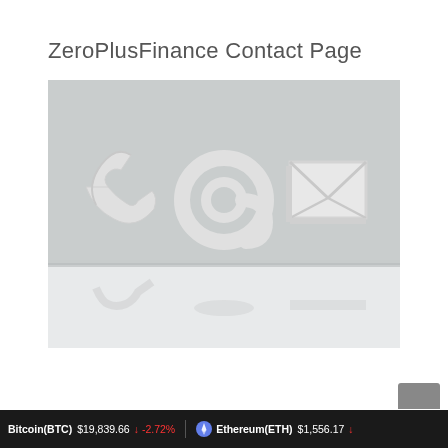ZeroPlusFinance Contact Page
[Figure (photo): Photo of three white 3D contact symbols (phone handset, at sign, envelope/mail icon) on a light grey textured background with white surface reflections below]
Bitcoin(BTC) $19,839.66 ↓ -2.72%   Ethereum(ETH) $1,556.17 ↓